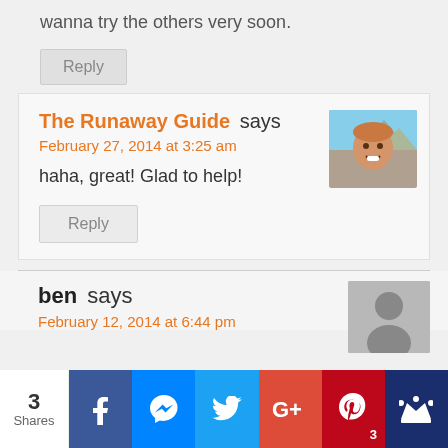wanna try the others very soon.
Reply
The Runaway Guide says
February 27, 2014 at 3:25 am
[Figure (photo): Profile photo of The Runaway Guide — smiling man outdoors]
haha, great! Glad to help!
Reply
ben says
February 12, 2014 at 6:44 pm
[Figure (photo): Default avatar silhouette for user ben]
3 Shares
[Figure (infographic): Social share bar with Facebook, Messenger, Twitter, Google+, Pinterest (3), and King buttons]